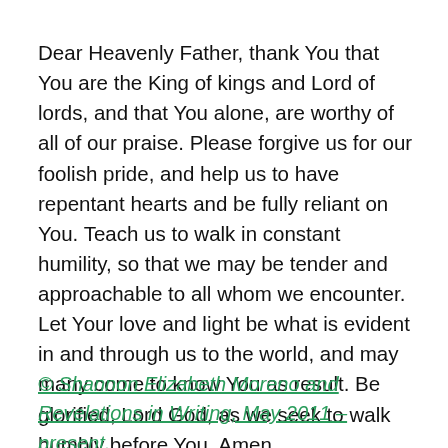Dear Heavenly Father, thank You that You are the King of kings and Lord of lords, and that You alone, are worthy of all of our praise. Please forgive us for our foolish pride, and help us to have repentant hearts and be fully reliant on You. Teach us to walk in constant humility, so that we may be tender and approachable to all whom we encounter. Let Your love and light be what is evident in and through us to the world, and may many come to know You as result. Be glorified, Lord God, as we seek to walk humbly before You. Amen.
© Shannon Elizabeth Moreno and Revelations in Writing, May 2011 – present.